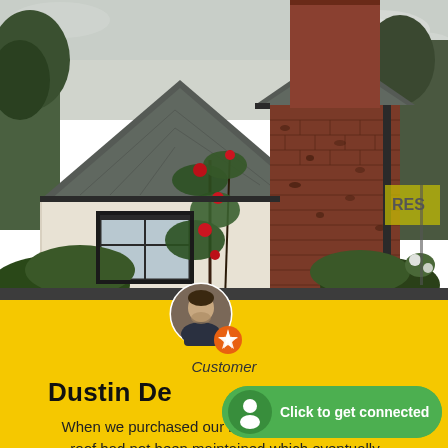[Figure (photo): Exterior photo of a brick and stucco house with a dark grey shingled roof. Red roses grow on climbing plants along the front. Trees and shrubs surround the home under a cloudy sky.]
[Figure (photo): User avatar photo of a man with an orange/gold badge icon overlay in the bottom right corner of the circular avatar.]
Customer
Dustin De Dorsey
When we purchased our home two years ago the roof had not been maintained which eventually
[Figure (other): Green rounded pill-shaped 'Click to get connected' button with a white person/agent icon on the left side.]